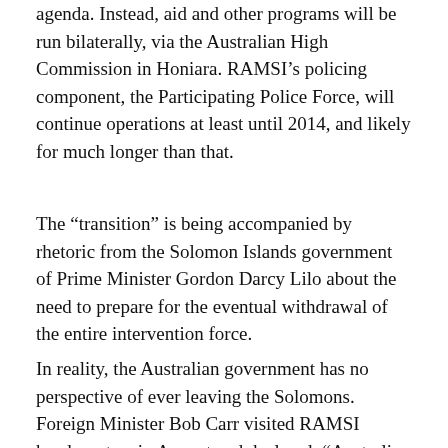agenda. Instead, aid and other programs will be run bilaterally, via the Australian High Commission in Honiara. RAMSI’s policing component, the Participating Police Force, will continue operations at least until 2014, and likely for much longer than that.
The “transition” is being accompanied by rhetoric from the Solomon Islands government of Prime Minister Gordon Darcy Lilo about the need to prepare for the eventual withdrawal of the entire intervention force.
In reality, the Australian government has no perspective of ever leaving the Solomons. Foreign Minister Bob Carr visited RAMSI headquarters in August and declared: “Australia is going to be here to help Solomon Islands and